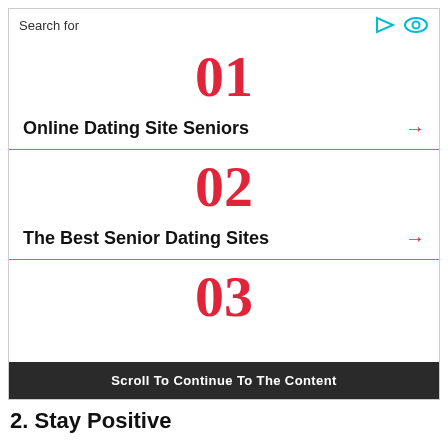Search for
01
Online Dating Site Seniors →
02
The Best Senior Dating Sites →
03
Scroll To Continue To The Content
2. Stay Positive